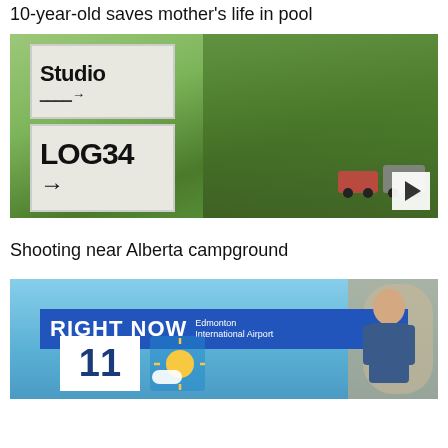10-year-old saves mother's life in pool
[Figure (photo): A white wooden directional sign post showing 'Studio →' on the upper section and 'LOG34 →' on the lower section, with trees and parked vehicles in the background.]
Shooting near Alberta campground
[Figure (screenshot): A weather broadcast screen showing 'RIGHT NOW Edmonton International Airport' banner with the number 11 and a weather icon, with a male presenter visible on the right.]